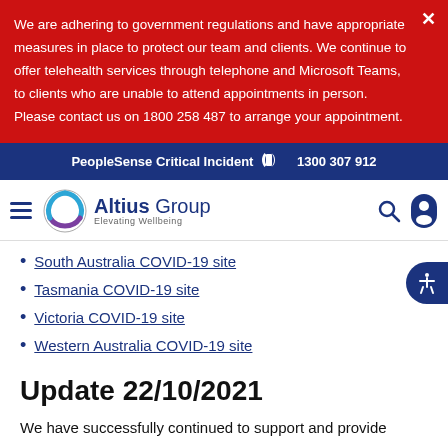We are adhering to government regulations and have appropriate measures in place to protect our team and clients. We continue to offer telehealth services through telephone and Microsoft Teams, to clients who are unable to attend appointments in person. Please contact us on 1800 258 487 to arrange your appointment.
PeopleSense Critical Incident   1300 307 912
South Australia COVID-19 site
Tasmania COVID-19 site
Victoria COVID-19 site
Western Australia COVID-19 site
Update 22/10/2021
We have successfully continued to support and provide